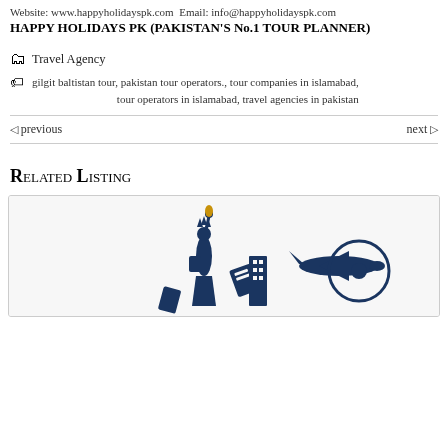Website: www.happyholidayspk.com Email: info@happyholidayspk.com
HAPPY HOLIDAYS PK (PAKISTAN'S No.1 TOUR PLANNER)
🗂 Travel Agency
gilgit baltistan tour, pakistan tour operators., tour companies in islamabad, tour operators in islamabad, travel agencies in pakistan
previous
next
Related Listing
[Figure (logo): Travel company logo with Statue of Liberty figure, airplane orbiting globe, and travel-related icons in dark navy blue]